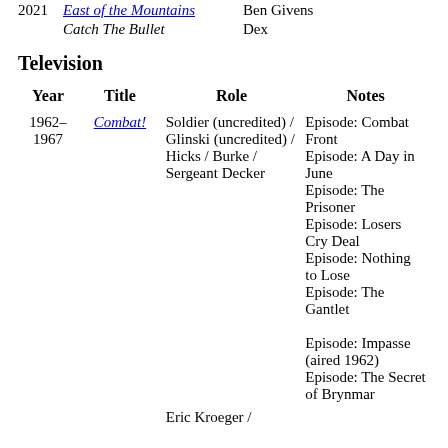| Year | Title | Role | Notes |
| --- | --- | --- | --- |
| 2021 | East of the Mountains | Ben Givens |  |
|  | Catch The Bullet | Dex |  |
Television
| Year | Title | Role | Notes |
| --- | --- | --- | --- |
| 1962–1967 | Combat! | Soldier (uncredited) / Glinski (uncredited) / Hicks / Burke / Sergeant Decker | Episode: Combat Front
Episode: A Day in June
Episode: The Prisoner
Episode: Losers Cry Deal
Episode: Nothing to Lose
Episode: The Gantlet
Episode: Impasse (aired 1962)
Episode: The Secret of Brynmar |
|  |  | Eric Kroeger / |  |